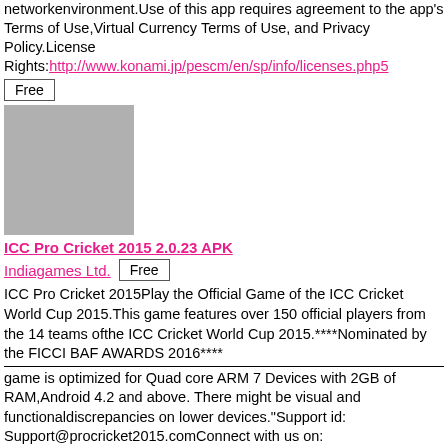networkenvironment.Use of this app requires agreement to the app's Terms of Use,Virtual Currency Terms of Use, and Privacy Policy.License Rights: http://www.konami.jp/pescm/en/sp/info/licenses.php5
Free
[Figure (photo): Gray placeholder image for app icon]
ICC Pro Cricket 2015 2.0.23 APK
Indiagames Ltd.  Free
ICC Pro Cricket 2015Play the Official Game of the ICC Cricket World Cup 2015.This game features over 150 official players from the 14 teams ofthe ICC Cricket World Cup 2015.****Nominated by the FICCI BAF AWARDS 2016****
game is optimized for Quad core ARM 7 Devices with 2GB of RAM,Android 4.2 and above. There might be visual and functionaldiscrepancies on lower devices."Support id: Support@procricket2015.comConnect with us on: https://www.facebook.com/ProCricket2015